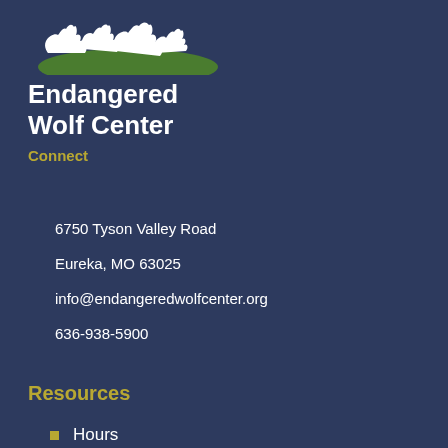[Figure (logo): Endangered Wolf Center logo with silhouettes of wolves/animals in white and green on dark blue background, with organization name 'Endangered Wolf Center' in white bold text]
Connect
6750 Tyson Valley Road
Eureka, MO 63025
info@endangeredwolfcenter.org
636-938-5900
Resources
Hours
Contact Us
Financials
News
Magazine